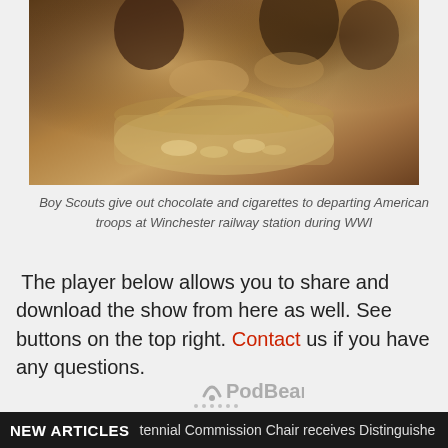[Figure (photo): Sepia-toned historical photograph of Boy Scouts distributing items from a wicker basket to departing American troops at Winchester railway station during WWI]
Boy Scouts give out chocolate and cigarettes to departing American troops at Winchester railway station during WWI
The player below allows you to share and download the show from here as well. See buttons on the top right. Contact us if you have any questions.
[Figure (logo): PodBean podcast player logo with arc symbol and dots]
NEW ARTICLES  tennial Commission Chair receives Distinguished